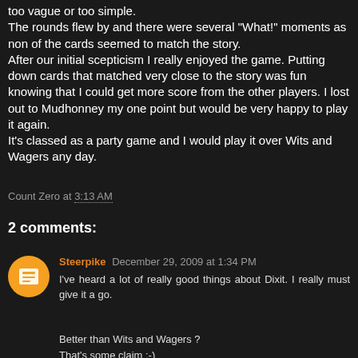too vague or too simple.
The rounds flew by and there were several "What!" moments as non of the cards seemed to match the story.
After our initial scepticism I really enjoyed the game. Putting down cards that matched very close to the story was fun knowing that I could get more score from the other players. I lost out to Mudhonney my one point but would be very happy to play it again.
It's classed as a party game and I would play it over Wits and Wagers any day.
Count Zero at 3:13 AM
2 comments:
Steerpike December 29, 2009 at 1:34 PM
I've heard a lot of really good things about Dixit. I really must give it a go.

Better than Wits and Wagers ?
That's some claim :-)